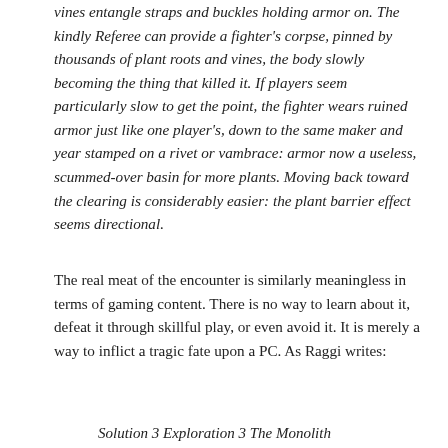vines entangle straps and buckles holding armor on. The kindly Referee can provide a fighter's corpse, pinned by thousands of plant roots and vines, the body slowly becoming the thing that killed it. If players seem particularly slow to get the point, the fighter wears ruined armor just like one player's, down to the same maker and year stamped on a rivet or vambrace: armor now a useless, scummed-over basin for more plants. Moving back toward the clearing is considerably easier: the plant barrier effect seems directional.
The real meat of the encounter is similarly meaningless in terms of gaming content. There is no way to learn about it, defeat it through skillful play, or even avoid it. It is merely a way to inflict a tragic fate upon a PC. As Raggi writes:
Solution 3 Exploration 3 The Monolith